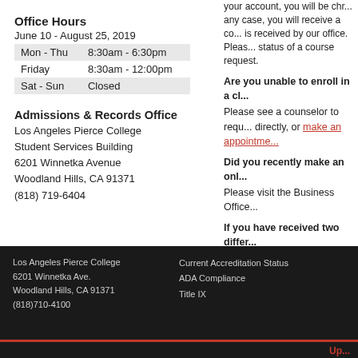Office Hours
June 10 - August 25, 2019
| Mon - Thu | 8:30am - 6:30pm |
| Friday | 8:30am - 12:00pm |
| Sat - Sun | Closed |
Admissions & Records Office
Los Angeles Pierce College
Student Services Building
6201 Winnetka Avenue
Woodland Hills, CA 91371
(818) 719-6404
your account, you will be chr... any case, you will receive a co... is received by our office. Please... status of a course request.
Are you unable to enroll in a cl...
Please see a counselor to requ... directly, or make an appointme...
Did you recently make an onli...
Please visit the Business Office...
If you have received two differ...
The Admissions and Records O... your official ID number.
Do you want to change your Ho...
Please see a counselor to requ... counselor, visit the counseling...
Los Angeles Pierce College
6201 Winnetka Ave.
Woodland Hills, CA 91371
(818)710-4100

Current Accreditation Status
ADA Compliance
Title IX

Up...